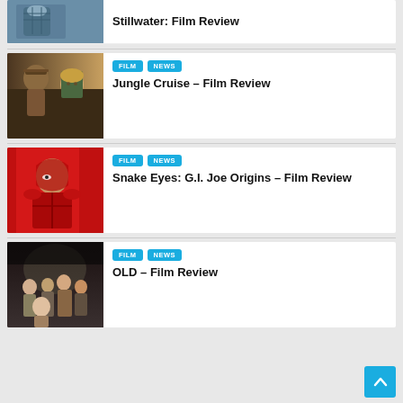[Figure (photo): Partial film card at top - man in plaid shirt, Stillwater film]
Stillwater: Film Review
[Figure (photo): Jungle Cruise film still - two actors]
FILM  NEWS
Jungle Cruise – Film Review
[Figure (photo): Snake Eyes film still - red background]
FILM  NEWS
Snake Eyes: G.I. Joe Origins – Film Review
[Figure (photo): OLD film still - group of people]
FILM  NEWS
OLD – Film Review